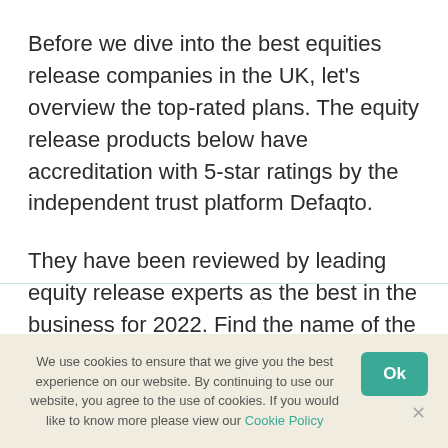Before we dive into the best equities release companies in the UK, let's overview the top-rated plans. The equity release products below have accreditation with 5-star ratings by the independent trust platform Defaqto.
They have been reviewed by leading equity release experts as the best in the business for 2022. Find the name of the provider and the names of their accoladed plans below.
We use cookies to ensure that we give you the best experience on our website. By continuing to use our website, you agree to the use of cookies. If you would like to know more please view our Cookie Policy